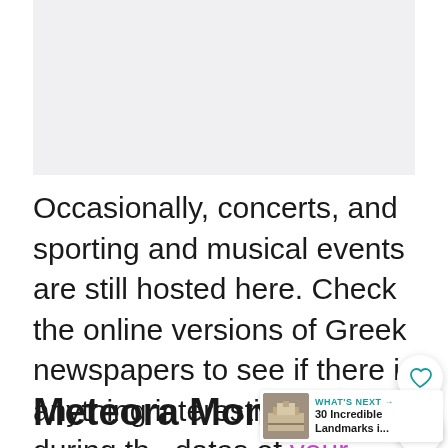[Figure (photo): Image placeholder area at top of page]
Occasionally, concerts, and sporting and musical events are still hosted here. Check the online versions of Greek newspapers to see if there is anything interesting going on during the dates of your Greece itinerary.
Meteora Monasteries